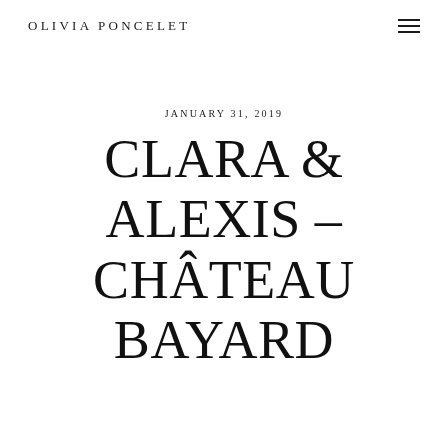OLIVIA PONCELET
JANUARY 31, 2019
CLARA & ALEXIS – CHÂTEAU BAYARD